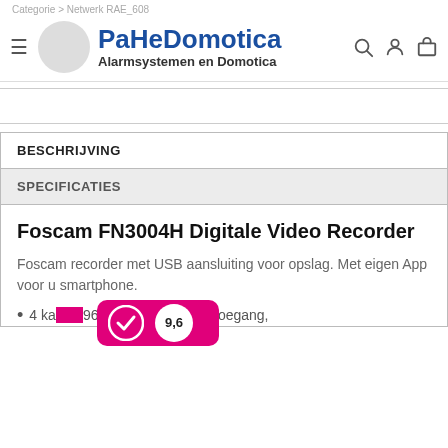Categorie > Netwerk RAE_608
PaHeDomotica
Alarmsystemen en Domotica
BESCHRIJVING
SPECIFICATIES
Foscam FN3004H Digitale Video Recorder
Foscam recorder met USB aansluiting voor opslag. Met eigen App voor u smartphone.
4 ka... 960P HD IP Camera toegang,